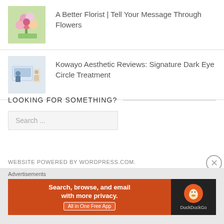A Better Florist | Tell Your Message Through Flowers
Kowayo Aesthetic Reviews: Signature Dark Eye Circle Treatment
LOOKING FOR SOMETHING?
Search ...
WEBSITE POWERED BY WORDPRESS.COM.
[Figure (screenshot): DuckDuckGo advertisement banner: orange left panel with text 'Search, browse, and email with more privacy. All in One Free App' and dark right panel with DuckDuckGo logo and brand name]